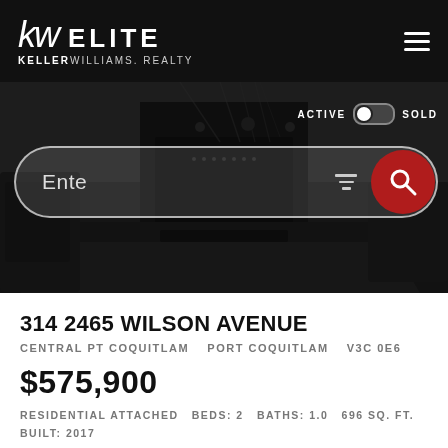kw ELITE KELLERWILLIAMS. REALTY
[Figure (screenshot): Real estate website hero image showing a modern living room interior in dark tones with an ACTIVE/SOLD toggle and a search bar overlay]
314 2465 WILSON AVENUE
CENTRAL PT COQUITLAM   PORT COQUITLAM   V3C 0E6
$575,900
RESIDENTIAL ATTACHED  BEDS: 2  BATHS: 1.0  696 SQ. FT.  BUILT: 2017